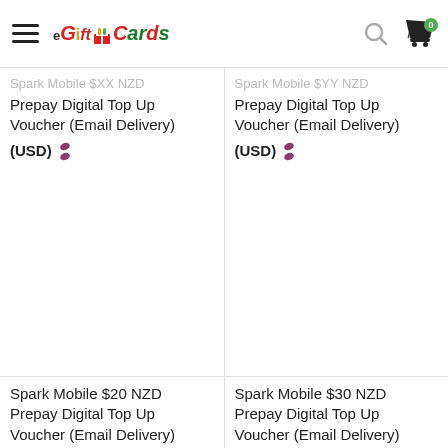eGiftCards — hamburger menu, search, cart (0)
Spark Mobile $XX NZD Prepay Digital Top Up Voucher (Email Delivery)
(USD)
Spark Mobile $YY NZD Prepay Digital Top Up Voucher (Email Delivery)
(USD)
[Figure (photo): Product card image placeholder for Spark Mobile $20 NZD Prepay Digital Top Up Voucher]
[Figure (photo): Product card image placeholder for Spark Mobile $30 NZD Prepay Digital Top Up Voucher]
Spark Mobile $20 NZD Prepay Digital Top Up Voucher (Email Delivery)
Spark Mobile $30 NZD Prepay Digital Top Up Voucher (Email Delivery)